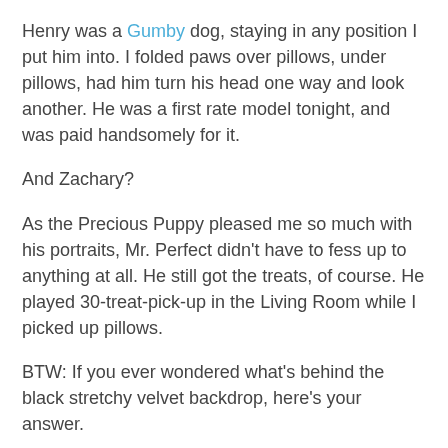Henry was a Gumby dog, staying in any position I put him into. I folded paws over pillows, under pillows, had him turn his head one way and look another. He was a first rate model tonight, and was paid handsomely for it.
And Zachary?
As the Precious Puppy pleased me so much with his portraits, Mr. Perfect didn't have to fess up to anything at all. He still got the treats, of course. He played 30-treat-pick-up in the Living Room while I picked up pillows.
BTW: If you ever wondered what's behind the black stretchy velvet backdrop, here's your answer.
And the knob with the sign on it? That's one I slip the rubber band over when I set up the set (as illustrated at the bottom of my Wild Things post a while back). The other one is equidistant to the left from the center of the two left knobs.
Got that?